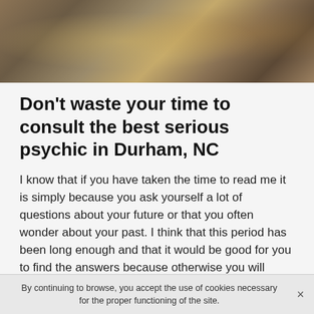[Figure (photo): Tarot cards and items on a wooden table, warm tones of yellow, brown, and orange]
Don't waste your time to consult the best serious psychic in Durham, NC
I know that if you have taken the time to read me it is simply because you ask yourself a lot of questions about your future or that you often wonder about your past. I think that this period has been long enough and that it would be good for you to find the answers because otherwise you will continue to spend your life doubting.
However, I know that many people do not believe in psychic, but that does not bother me more than that, because I am convinced that they prefer to remain in ignorance and to hide their faces rather than to face the
By continuing to browse, you accept the use of cookies necessary for the proper functioning of the site.